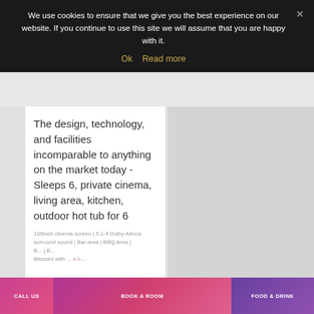We use cookies to ensure that we give you the best experience on our website. If you continue to use this site we will assume that you are happy with it.
Ok   Read more
The design, technology, and facilities incomparable to anything on the market today - Sleeps 6, private cinema, living area, kitchen, outdoor hot tub for 6
108inch cinema screen | 5.1.4 Dolby Atmos surround sound | Bar area | BBQ Area | B... | B... Blessed with ... a b...
CALL US
BOOK A ROOM
FOOD & DRINK